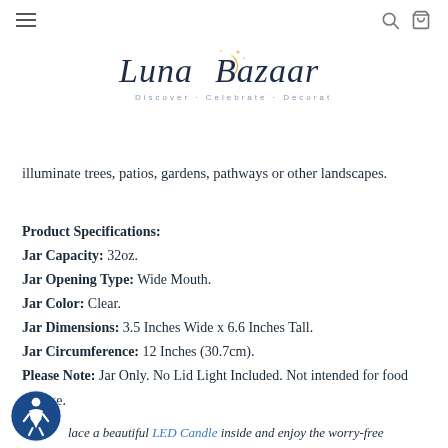Luna Bazaar — Discover · Celebrate · Decorate
illuminate trees, patios, gardens, pathways or other landscapes.
Product Specifications: Jar Capacity: 32oz. Jar Opening Type: Wide Mouth. Jar Color: Clear. Jar Dimensions: 3.5 Inches Wide x 6.6 Inches Tall. Jar Circumference: 12 Inches (30.7cm). Please Note: Jar Only. No Lid Light Included. Not intended for food storage.
Place a beautiful LED Candle inside and enjoy the worry-free …